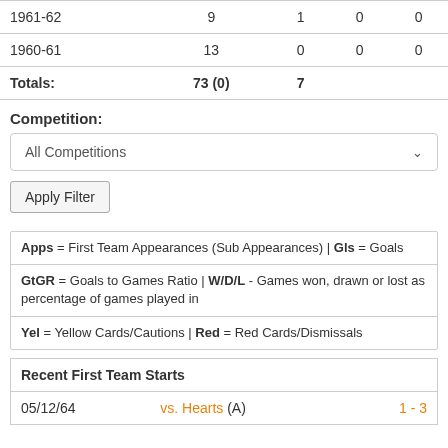| Season | Apps | Gls |  |  |
| --- | --- | --- | --- | --- |
| 1961-62 | 9 | 1 | 0 | 0 |
| 1960-61 | 13 | 0 | 0 | 0 |
| Totals: | 73 (0) | 7 |  |  |
Competition:
All Competitions
Apply Filter
Apps = First Team Appearances (Sub Appearances) | Gls = Goals
GtGR = Goals to Games Ratio | W/D/L - Games won, drawn or lost as percentage of games played in
Yel = Yellow Cards/Cautions | Red = Red Cards/Dismissals
| Recent First Team Starts |
| --- |
| 05/12/64 | vs. Hearts (A) | 1 - 3 |